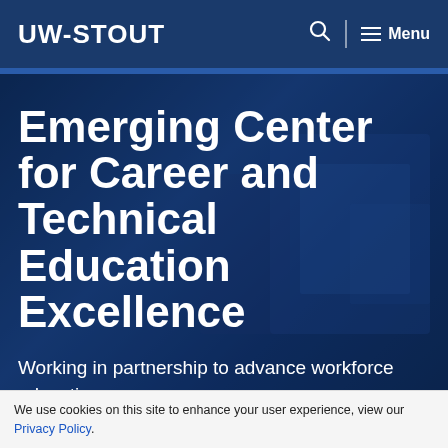UW-STOUT  Menu
Emerging Center for Career and Technical Education Excellence
Working in partnership to advance workforce education.
We use cookies on this site to enhance your user experience, view our Privacy Policy.